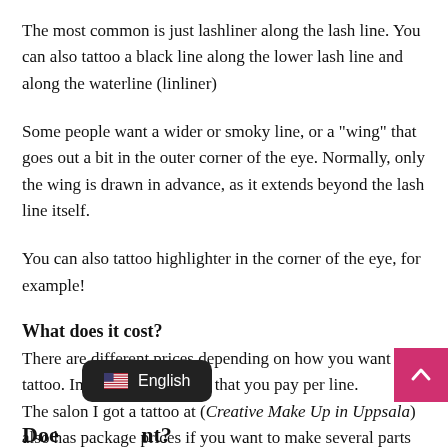The most common is just lashliner along the lash line. You can also tattoo a black line along the lower lash line and along the waterline (linliner)
Some people want a wider or smoky line, or a "wing" that goes out a bit in the outer corner of the eye. Normally, only the wing is drawn in advance, as it extends beyond the lash line itself.
You can also tattoo highlighter in the corner of the eye, for example!
What does it cost?
There are different prices depending on how you want to tattoo. In short, you can say that you pay per line.
The salon I got a tattoo at (Creative Make Up in Uppsala) also has package prices if you want to make several parts of the eyes. You will find their price list here!
Doe...nt?